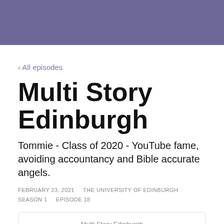[Figure (other): Purple/slate colored header banner strip at top of page]
‹ All episodes
Multi Story Edinburgh
Tommie - Class of 2020 - YouTube fame, avoiding accountancy and Bible accurate angels.
FEBRUARY 23, 2021    THE UNIVERSITY OF EDINBURGH    SEASON 1    EPISODE 18
[Figure (other): Podcast card preview showing 'Multi Story Edinburgh' show name and episode title 'Tommie - Class of 20...' partially visible]